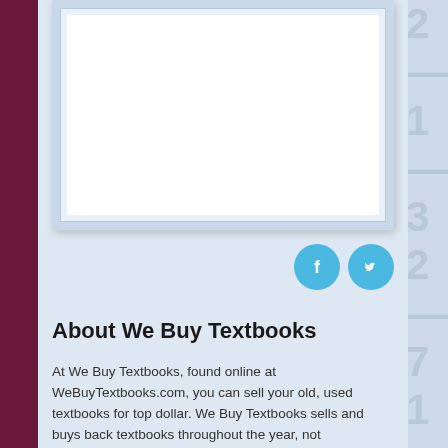[Figure (other): A white rectangular book or image placeholder box with a light blue border, set against a light blue-gray background panel with a shadow.]
[Figure (other): Two circular social media icons: a Facebook icon (f) and a Twitter icon (bird), both in light blue circles.]
About We Buy Textbooks
At We Buy Textbooks, found online at WeBuyTextbooks.com, you can sell your old, used textbooks for top dollar. We Buy Textbooks sells and buys back textbooks throughout the year, not